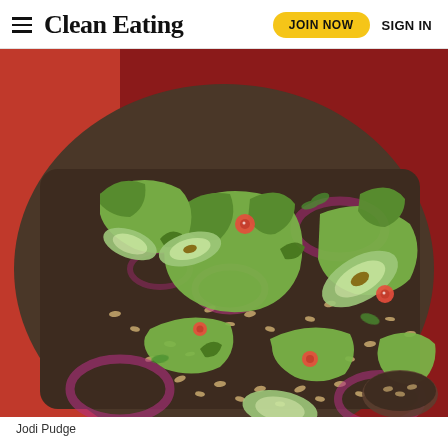Clean Eating — JOIN NOW   SIGN IN
[Figure (photo): Overhead close-up photo of a salad with green lettuce leaves, avocado slices, red onion rings, red chili pepper slices, and farro/grains, served in a dark square plate with a red background]
Jodi Pudge